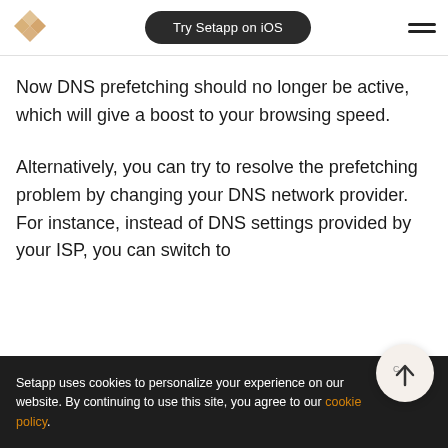Try Setapp on iOS
Now DNS prefetching should no longer be active, which will give a boost to your browsing speed.
Alternatively, you can try to resolve the prefetching problem by changing your DNS network provider. For instance, instead of DNS settings provided by your ISP, you can switch to
Setapp uses cookies to personalize your experience on our website. By continuing to use this site, you agree to our cookie policy.
Preferences, select your current network and